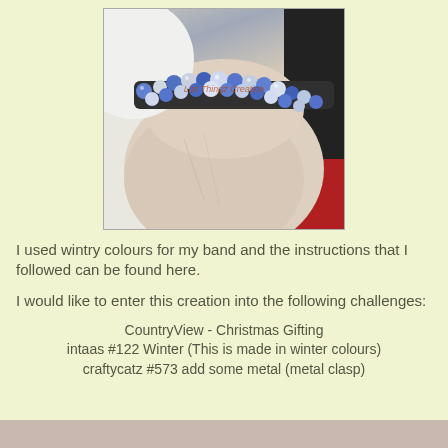[Figure (photo): A close-up photo of a wrist wearing a beaded bracelet with blue and silver/white beads. A watermark reads 'Loz Thingz Creation' in red-orange text across the bracelet.]
I used wintry colours for my band and the instructions that I followed can be found here.
I would like to enter this creation into the following challenges:
CountryView - Christmas Gifting
intaas #122 Winter (This is made in winter colours)
craftycatz #573 add some metal (metal clasp)